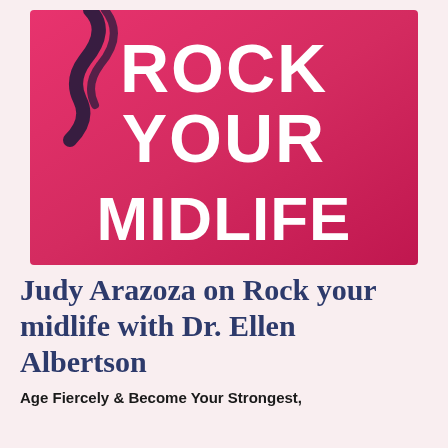[Figure (logo): Podcast cover art for 'Rock Your Midlife' with bold white text on a pink-to-red gradient background with decorative black brush stroke]
Judy Arazoza on Rock your midlife with Dr. Ellen Albertson
Age Fiercely & Become Your Strongest,